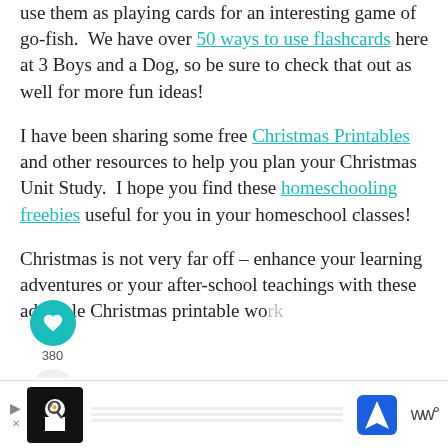use them as playing cards for an interesting game of go-fish. We have over 50 ways to use flashcards here at 3 Boys and a Dog, so be sure to check that out as well for more fun ideas!
I have been sharing some free Christmas Printables and other resources to help you plan your Christmas Unit Study. I hope you find these homeschooling freebies useful for you in your homeschool classes!
Christmas is not very far off – enhance your learning adventures or your after-school teachings with these adorable Christmas printable worksheets.
[Figure (infographic): Social media widget with heart/like button showing 380 count and a share button]
[Figure (infographic): What's Next bar showing Thanksgiving Printables link with thumbnail image]
[Figure (infographic): Advertisement bar at bottom with chef icon, map/navigation icon, and WW logo]